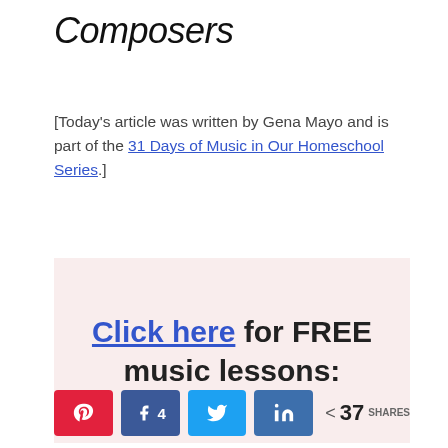Composers
[Today's article was written by Gena Mayo and is part of the 31 Days of Music in Our Homeschool Series.]
[Figure (other): Pink/rose-tinted banner with bold text: Click here for FREE music lessons:]
< 37 SHARES (share buttons: Pinterest, Facebook 4, Twitter, LinkedIn)